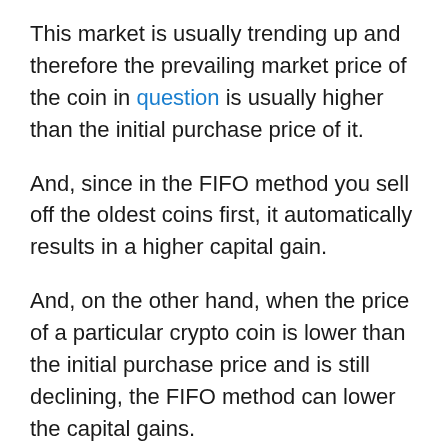This market is usually trending up and therefore the prevailing market price of the coin in question is usually higher than the initial purchase price of it.
And, since in the FIFO method you sell off the oldest coins first, it automatically results in a higher capital gain.
And, on the other hand, when the price of a particular crypto coin is lower than the initial purchase price and is still declining, the FIFO method can lower the capital gains.
This is because the initial cost price will be higher than the current prices at which you are selling the crypto coin.